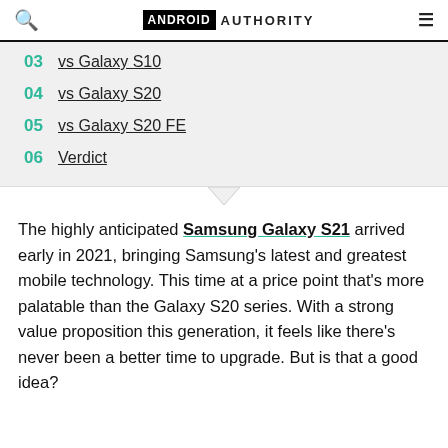ANDROID AUTHORITY
03 vs Galaxy S10
04 vs Galaxy S20
05 vs Galaxy S20 FE
06 Verdict
The highly anticipated Samsung Galaxy S21 arrived early in 2021, bringing Samsung’s latest and greatest mobile technology. This time at a price point that’s more palatable than the Galaxy S20 series. With a strong value proposition this generation, it feels like there’s never been a better time to upgrade. But is that a good idea?